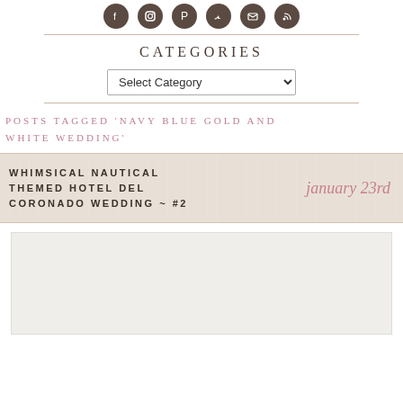[Figure (illustration): Row of social media icons: Facebook, Instagram, Pinterest, Twitter, Email, RSS — dark brown circular icons]
CATEGORIES
Select Category (dropdown)
POSTS TAGGED 'NAVY BLUE GOLD AND WHITE WEDDING'
WHIMSICAL NAUTICAL THEMED HOTEL DEL CORONADO WEDDING ~ #2
january 23rd
[Figure (photo): Light gray/cream colored partially visible photo area at bottom of page]